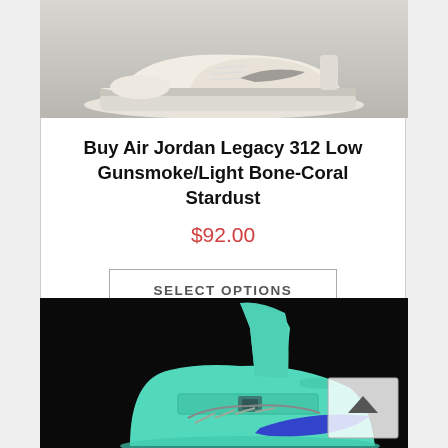[Figure (photo): Close-up photo of the sole and lower portion of the Air Jordan Legacy 312 Low sneaker in Gunsmoke/Light Bone-Coral Stardust colorway, showing cream/beige upper and grey sole on a grey surface]
Buy Air Jordan Legacy 312 Low Gunsmoke/Light Bone-Coral Stardust
$92.00
SELECT OPTIONS
[Figure (photo): Photo of a teal/mint green Air Jordan mid-top sneaker with a blue Nike swoosh on a dark/black background, partial view showing the ankle and body of the shoe]